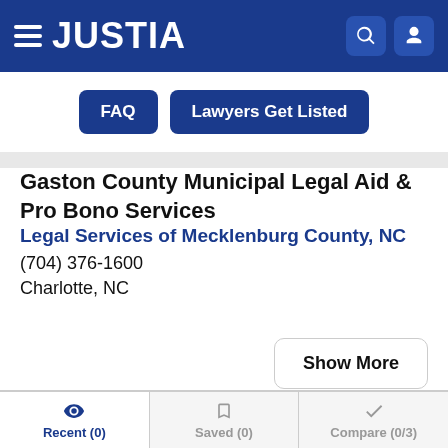JUSTIA
[Figure (screenshot): FAQ and Lawyers Get Listed navigation buttons]
Gaston County Municipal Legal Aid & Pro Bono Services
Legal Services of Mecklenburg County, NC
(704) 376-1600
Charlotte, NC
Show More
Recent (0)  Saved (0)  Compare (0/3)